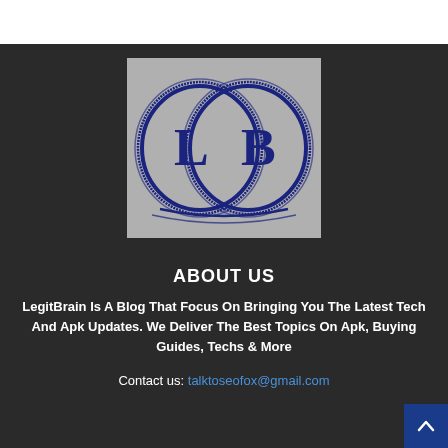[Figure (logo): LegitBrain logo: two overlapping circles with L and B letters inside, dark navy blue on gray background]
ABOUT US
LegitBrain Is A Blog That Focus On Bringing You The Latest Tech And Apk Updates. We Deliver The Best Topics On Apk, Buying Guides, Techs & More
Contact us: talktoseofox@gmail.com